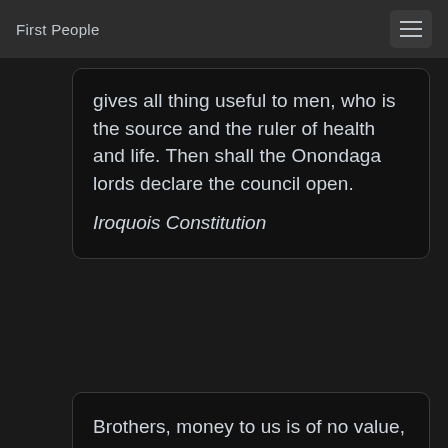First People
gives all thing useful to men, who is the source and the ruler of health and life. Then shall the Onondaga lords declare the council open.
Iroquois Constitution
Brothers, money to us is of no value, and to most of us unknown; and as no consideration whatever can induce us to sell the lands, on which we get sustenance for our women and children, we hope we may be allowed to